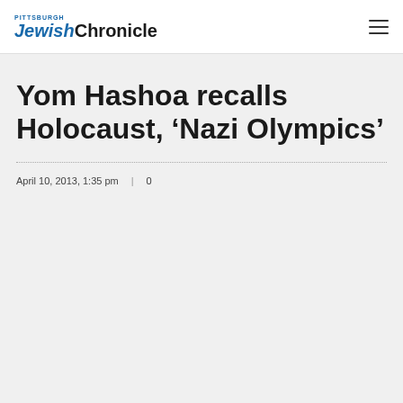Pittsburgh Jewish Chronicle
Yom Hashoa recalls Holocaust, ‘Nazi Olympics’
April 10, 2013, 1:35 pm  |  0